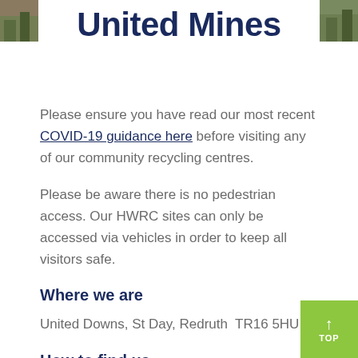United Mines
Please ensure you have read our most recent COVID-19 guidance here before visiting any of our community recycling centres.
Please be aware there is no pedestrian access. Our HWRC sites can only be accessed via vehicles in order to keep all visitors safe.
Where we are
United Downs, St Day, Redruth  TR16 5HU
How to find us